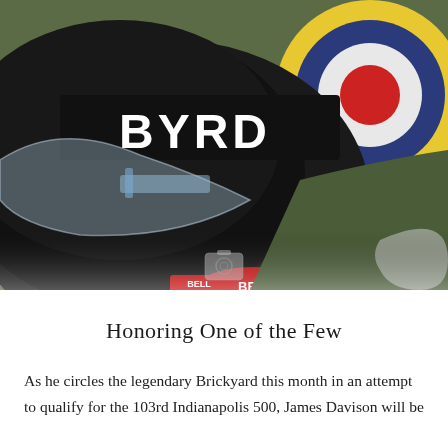[Figure (photo): Close-up photograph of a Bell racing helmet with 'BYRD' lettering, a clear visor, and a Bell Helmets logo sticker. Behind it is a second helmet/object with a RAF-style roundel (red, white, blue, yellow concentric circles) and an olive green surface with a 'Cordy Concepts' sticker.]
Honoring One of the Few
As he circles the legendary Brickyard this month in an attempt to qualify for the 103rd Indianapolis 500, James Davison will be